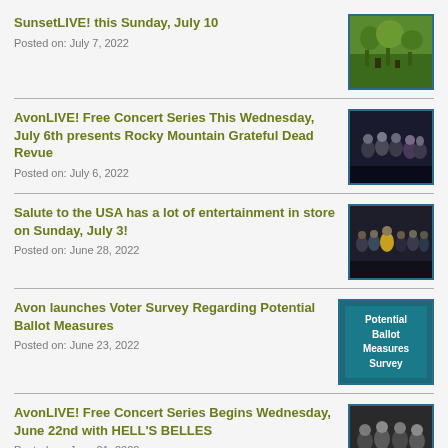SunsetLIVE! this Sunday, July 10
Posted on: July 7, 2022
[Figure (photo): Outdoor music event photo with greenery]
AvonLIVE! Free Concert Series This Wednesday, July 6th presents Rocky Mountain Grateful Dead Revue
Posted on: July 6, 2022
[Figure (photo): Band group photo in dark setting]
Salute to the USA has a lot of entertainment in store on Sunday, July 3!
Posted on: June 28, 2022
[Figure (photo): Group of people with one person in yellow jacket]
Avon launches Voter Survey Regarding Potential Ballot Measures
Posted on: June 23, 2022
[Figure (infographic): Teal background with text: Potential Ballot Measures Survey]
AvonLIVE! Free Concert Series Begins Wednesday, June 22nd with HELL'S BELLES
Posted on: June 21, 2022
[Figure (photo): Band photo in black and white]